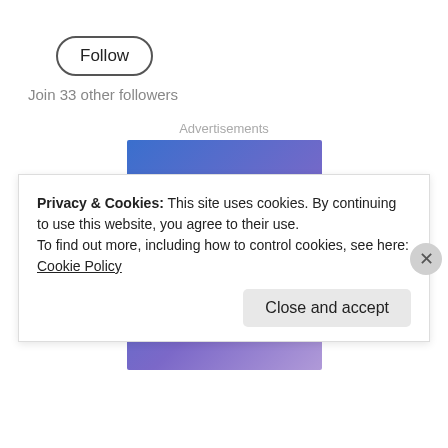Follow
Join 33 other followers
Advertisements
[Figure (illustration): Advertisement banner with blue-to-purple gradient background and white serif text reading 'Simplified pricing for']
Privacy & Cookies: This site uses cookies. By continuing to use this website, you agree to their use.
To find out more, including how to control cookies, see here: Cookie Policy
Close and accept